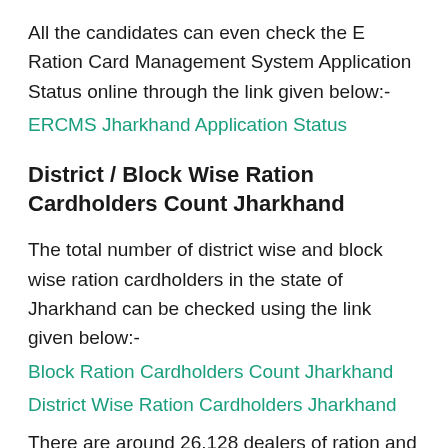All the candidates can even check the E Ration Card Management System Application Status online through the link given below:-
ERCMS Jharkhand Application Status
District / Block Wise Ration Cardholders Count Jharkhand
The total number of district wise and block wise ration cardholders in the state of Jharkhand can be checked using the link given below:-
Block Ration Cardholders Count Jharkhand
District Wise Ration Cardholders Jharkhand
There are around 26,128 dealers of ration and 255 depot in the Jharkhand state to provide subsidized